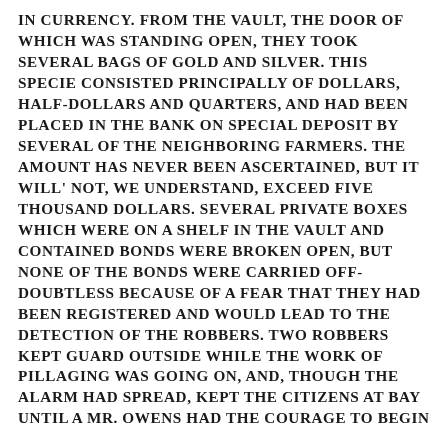IN CURRENCY. FROM THE VAULT, THE DOOR OF WHICH WAS STANDING OPEN, THEY TOOK SEVERAL BAGS OF GOLD AND SILVER. THIS SPECIE CONSISTED PRINCIPALLY OF DOLLARS, HALF-DOLLARS AND QUARTERS, AND HAD BEEN PLACED IN THE BANK ON SPECIAL DEPOSIT BY SEVERAL OF THE NEIGHBORING FARMERS. THE AMOUNT HAS NEVER BEEN ASCERTAINED, BUT IT WILL' NOT, WE UNDERSTAND, EXCEED FIVE THOUSAND DOLLARS. SEVERAL PRIVATE BOXES WHICH WERE ON A SHELF IN THE VAULT AND CONTAINED BONDS WERE BROKEN OPEN, BUT NONE OF THE BONDS WERE CARRIED OFF-DOUBTLESS BECAUSE OF A FEAR THAT THEY HAD BEEN REGISTERED AND WOULD LEAD TO THE DETECTION OF THE ROBBERS. TWO ROBBERS KEPT GUARD OUTSIDE WHILE THE WORK OF PILLAGING WAS GOING ON, AND, THOUGH THE ALARM HAD SPREAD, KEPT THE CITIZENS AT BAY UNTIL A MR. OWENS HAD THE COURAGE TO BEGIN